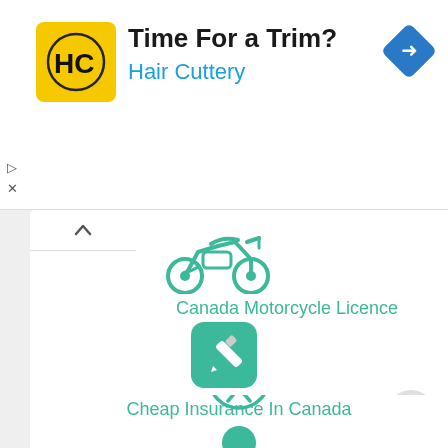[Figure (screenshot): Advertisement banner for Hair Cuttery with yellow logo, headline 'Time For a Trim?', brand name 'Hair Cuttery', and a blue navigation diamond icon]
[Figure (illustration): Teal/green motorcycle icon (outline style)]
Canada Motorcycle Licence
[Figure (illustration): Teal rounded square icon with a pencil/edit symbol]
Canadian Practice Tests
[Figure (illustration): Teal circle outline with accessibility person icon inside]
Cheap Insurance In Canada
[Figure (illustration): Small teal filled circle (partially visible at bottom)]